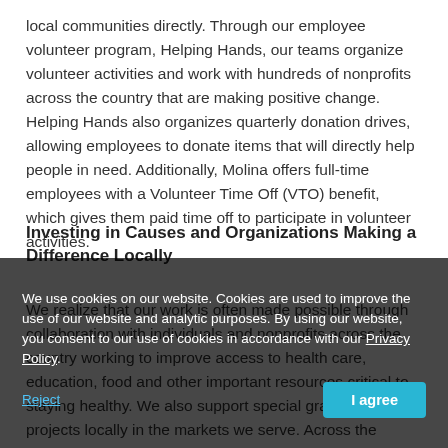local communities directly. Through our employee volunteer program, Helping Hands, our teams organize volunteer activities and work with hundreds of nonprofits across the country that are making positive change. Helping Hands also organizes quarterly donation drives, allowing employees to donate items that will directly help people in need. Additionally, Molina offers full-time employees with a Volunteer Time Off (VTO) benefit, which gives them paid time off to participate in volunteer activities.
Investing in Causes and Organizations Making a Difference Locally
We realize that our work is often made possible through collaboration with individuals and nonprofits across the country working to improve access to health care, education, food and other important resources critical to staying healthy. We also support special grassroots projects locally in the markets we serve. Across the country, we organize and sponsor community events including baby showers, back-to-school events, blood drives, healthy food giveaways and many other local initiatives aimed at improving the health and well-being of our communities.
We use cookies on our website. Cookies are used to improve the use of our website and analytic purposes. By using our website, you consent to our use of cookies in accordance with our Privacy Policy.